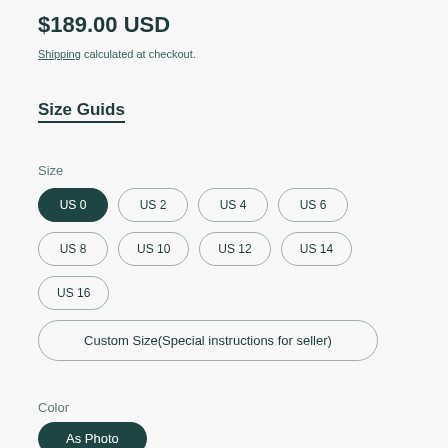$189.00 USD
Shipping calculated at checkout.
Size Guids
Size
US 0
US 2
US 4
US 6
US 8
US 10
US 12
US 14
US 16
Custom Size(Special instructions for seller)
Color
As Photo